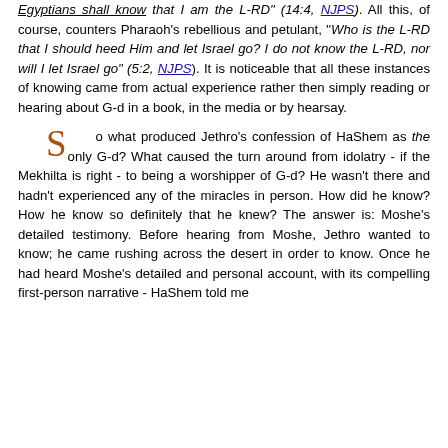Egyptians shall know that I am the L-RD" (14:4, NJPS). All this, of course, counters Pharaoh's rebellious and petulant, "Who is the L-RD that I should heed Him and let Israel go? I do not know the L-RD, nor will I let Israel go" (5:2, NJPS). It is noticeable that all these instances of knowing came from actual experience rather then simply reading or hearing about G-d in a book, in the media or by hearsay.
So what produced Jethro's confession of HaShem as the only G-d? What caused the turn around from idolatry - if the Mekhilta is right - to being a worshipper of G-d? He wasn't there and hadn't experienced any of the miracles in person. How did he know? How he know so definitely that he knew? The answer is: Moshe's detailed testimony. Before hearing from Moshe, Jethro wanted to know; he came rushing across the desert in order to know. Once he had heard Moshe's detailed and personal account, with its compelling first-person narrative - HaShem told me